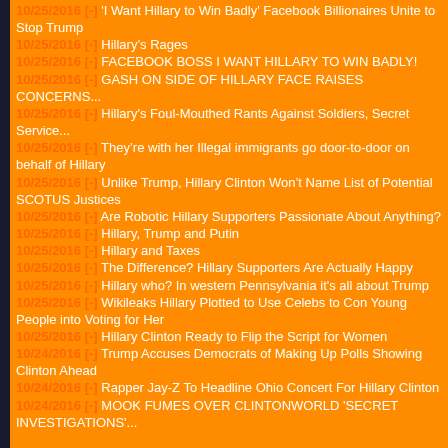10/25/2016 [-] 'I Want Hillary to Win Badly' Facebook Billionaires Unite to Stop Trump
10/25/2016 [-] Hillary’s Rages
10/25/2016 [-] FACEBOOK BOSS I WANT HILLARY TO WIN BADLY!
10/25/2016 [-] GASH ON SIDE OF HILLARY FACE RAISES CONCERNS...
10/25/2016 [-] Hillary's Foul-Mouthed Rants Against Soldiers, Secret Service...
10/25/2016 [-] They’re with her Illegal immigrants go door-to-door on behalf of Hillary
10/25/2016 [-] Unlike Trump, Hillary Clinton Won’t Name List of Potential SCOTUS Justices
10/25/2016 [-] Are Robotic Hillary Supporters Passionate About Anything?
10/25/2016 [-] Hillary, Trump and Putin
10/25/2016 [-] Hillary and Taxes
10/25/2016 [-] The Difference? Hillary Supporters Are Actually Happy
10/25/2016 [-] Hillary who? In western Pennsylvania it's all about Trump
10/25/2016 [-] Wikileaks Hillary Plotted to Use Celebs to Con Young People into Voting for Her
10/25/2016 [-] Hillary Clinton Ready to Flip the Script for Women
10/24/2016 [-] Trump Accuses Democrats of Making Up Polls Showing Clinton Ahead
10/24/2016 [-] Rapper Jay-Z To Headline Ohio Concert For Hillary Clinton
10/24/2016 [-] MOOK FUMES OVER CLINTONWORLD 'SECRET INVESTIGATIONS'...